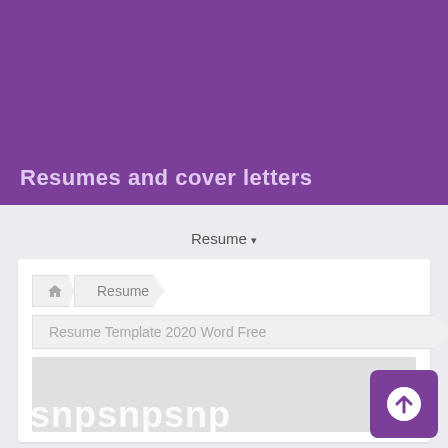Resumes and cover letters
Resume ▼
[Figure (screenshot): Breadcrumb navigation showing home icon, Resume, and Resume Template 2020 Word Free. Below is a gray preview area with watermark text 'snpsnpsnp' and a purple upload/scroll-to-top button in the bottom right corner.]